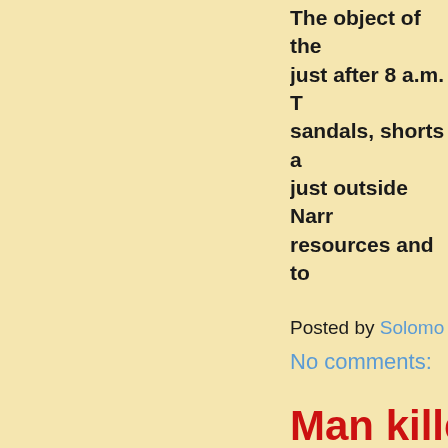The object of the just after 8 a.m. T sandals, shorts a just outside Narr resources and to
Posted by Solomo
No comments:
Man killec
Man killed in R
Star Gazette
An 82-year-old T crash at U.S. Ro